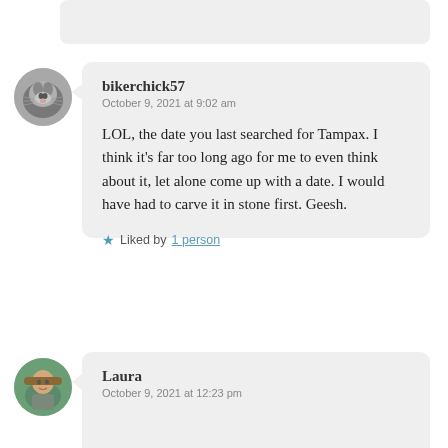[Figure (illustration): Partial comment box stub at top of page, clipped]
[Figure (photo): Round avatar image of a cat (black and white photo)]
bikerchick57
October 9, 2021 at 9:02 am

LOL, the date you last searched for Tampax. I think it’s far too long ago for me to even think about it, let alone come up with a date. I would have had to carve it in stone first. Geesh.

★ Liked by 1 person
[Figure (photo): Round avatar image of a person wearing a hat outdoors]
Laura
October 9, 2021 at 12:23 pm